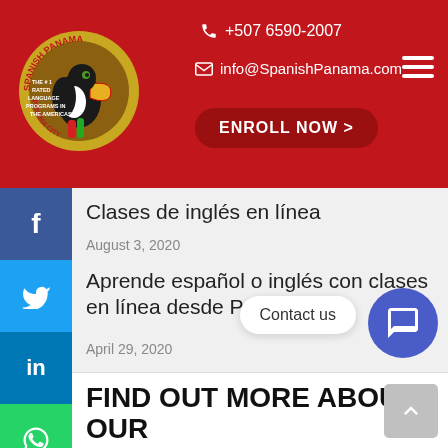[Figure (logo): Spanish Panama circular logo with toucan bird, red background]
+507 6590-2007
info@SpanishPanama.com
ENROLL NOW >
Clases de inglés en línea
August 3, 2020
Aprende español o inglés con clases en línea desde Panamá
April 29, 2020
Contact us
FIND OUT MORE ABOUT OUR BUSINESS SPANISH COURSES
Please fill out the form below and an